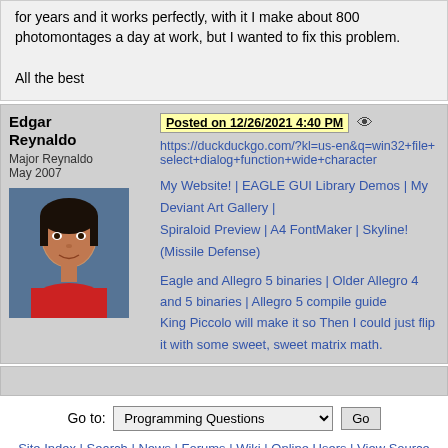for years and it works perfectly, with it I make about 800 photomontages a day at work, but I wanted to fix this problem.

All the best
Edgar Reynaldo
Major Reynaldo
May 2007
Posted on 12/26/2021 4:40 PM
https://duckduckgo.com/?kl=us-en&q=win32+file+select+dialog+function+wide+character
My Website! | EAGLE GUI Library Demos | My Deviant Art Gallery | Spiraloid Preview | A4 FontMaker | Skyline! (Missile Defense)
Eagle and Allegro 5 binaries | Older Allegro 4 and 5 binaries | Allegro 5 compile guide
King Piccolo will make it so Then I could just flip it with some sweet, sweet matrix math.
Go to: Programming Questions  Go
Site Index | Search | News | Forums | Wiki | Online Users | View Source
Copyright ©1999-2022, by Matthew Leverton
You are visitor #90,576,211 since January 1999.
This page has been viewed 20 times since March 2002.
Page generated in 0.029427 seconds.